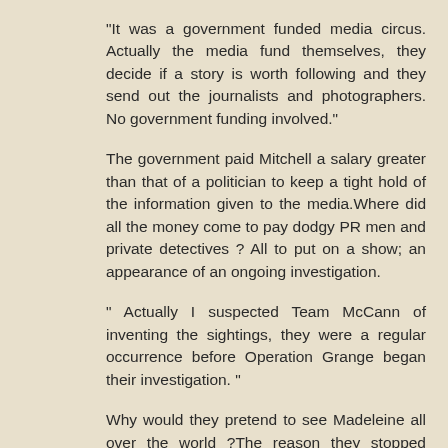"It was a government funded media circus. Actually the media fund themselves, they decide if a story is worth following and they send out the journalists and photographers. No government funding involved."
The government paid Mitchell a salary greater than that of a politician to keep a tight hold of the information given to the media.Where did all the money come to pay dodgy PR men and private detectives ? All to put on a show; an appearance of an ongoing investigation.
" Actually I suspected Team McCann of inventing the sightings, they were a regular occurrence before Operation Grange began their investigation. "
Why would they pretend to see Madeleine all over the world ?The reason they stopped being regular just after OG was invented is obvious. The strategy had worn thin and a new one was